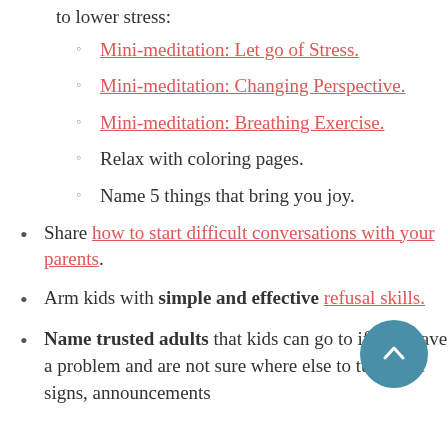to lower stress:
Mini-meditation: Let go of Stress.
Mini-meditation: Changing Perspective.
Mini-meditation: Breathing Exercise.
Relax with coloring pages.
Name 5 things that bring you joy.
Share how to start difficult conversations with your parents.
Arm kids with simple and effective refusal skills.
Name trusted adults that kids can go to if they have a problem and are not sure where else to turn. Use signs, announcements